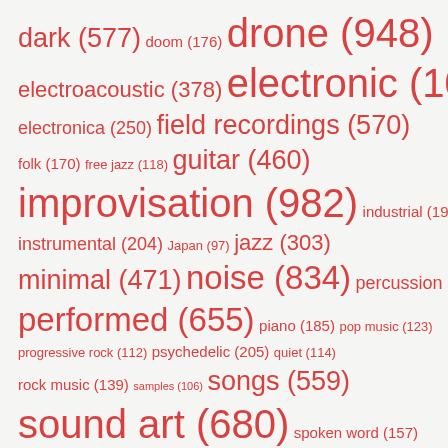[Figure (infographic): Tag cloud of music genre and style terms with counts in parentheses. Terms are sized proportionally to their counts. All text is in red on a light gray background. Terms include: dark (577), doom (176), drone (948), electroacoustic (378), electronic (1067), electronica (250), field recordings (570), folk (170), free jazz (118), guitar (460), improvisation (982), industrial (199), instrumental (204), Japan (97), jazz (303), minimal (471), noise (834), percussion (224), performed (655), piano (185), pop music (123), progressive rock (112), psychedelic (205), quiet (114), rock music (139), samples (106), songs (559), sound art (680), spoken word (157).]